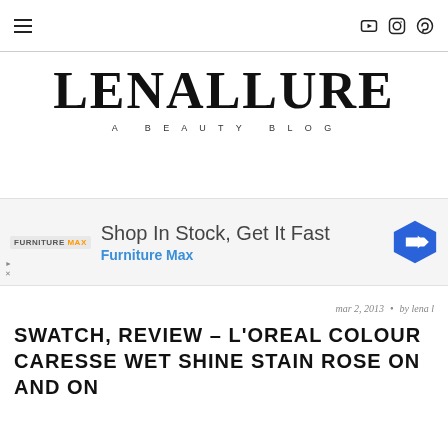≡ [hamburger menu] | YouTube Instagram Pinterest icons
LENALLURE
A BEAUTY BLOG
[Figure (infographic): Advertisement banner: Shop In Stock, Get It Fast - Furniture Max]
mar 2, 2013  •  by lena l
SWATCH, REVIEW – L'OREAL COLOUR CARESSE WET SHINE STAIN ROSE ON AND ON